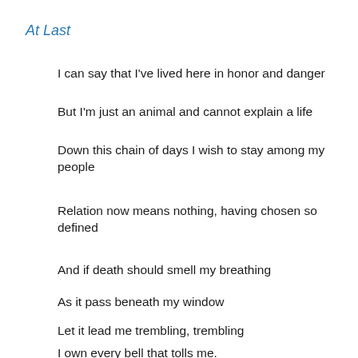At Last
I can say that I've lived here in honor and danger
But I'm just an animal and cannot explain a life
Down this chain of days I wish to stay among my people
Relation now means nothing, having chosen so defined
And if death should smell my breathing
As it pass beneath my window
Let it lead me trembling, trembling
I own every bell that tolls me.